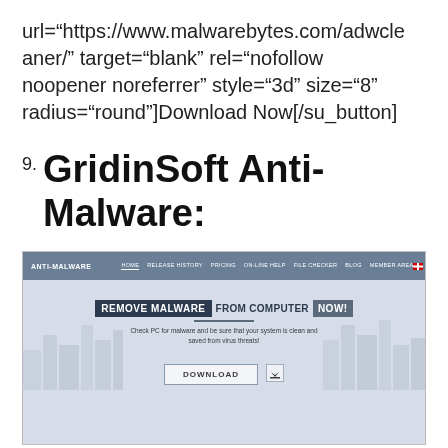url="https://www.malwarebytes.com/adwcleaner/" target="blank" rel="nofollow noopener noreferrer" style="3d" size="8" radius="round"]Download Now[/su_button]
9. GridinSoft Anti-Malware:
[Figure (screenshot): Screenshot of the GridinSoft Anti-Malware website homepage showing navigation bar, hero section with 'REMOVE MALWARE FROM COMPUTER NOW!' headline, a Download button, city skyline background, and a bottom toolbar with icons.]